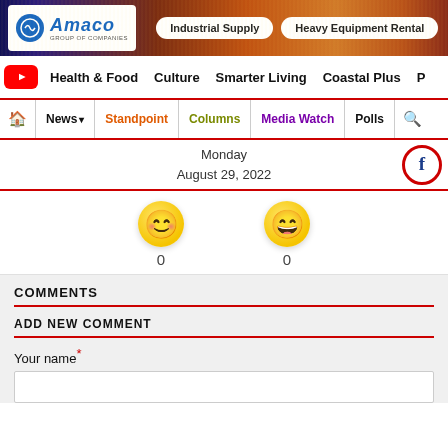[Figure (other): Amaco Group of Companies banner advertisement with logo, Industrial Supply and Heavy Equipment Rental pills, sunset city background]
Health & Food   Culture   Smarter Living   Coastal Plus   P
News ▾  |  Standpoint  |  Columns  |  Media Watch  |  Polls  |  🔍
Monday
August 29, 2022
[Figure (other): Two yellow smiley face emoji reaction buttons, each showing 0 count]
COMMENTS
ADD NEW COMMENT
Your name *